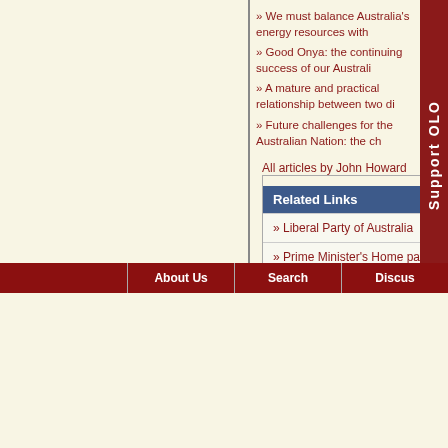» We must balance Australia's energy resources with...
» Good Onya: the continuing success of our Australi...
» A mature and practical relationship between two di...
» Future challenges for the Australian Nation: the ch...
All articles by John Howard
Related Links
» Liberal Party of Australia
» Prime Minister's Home page
About Us | Search | Discus...